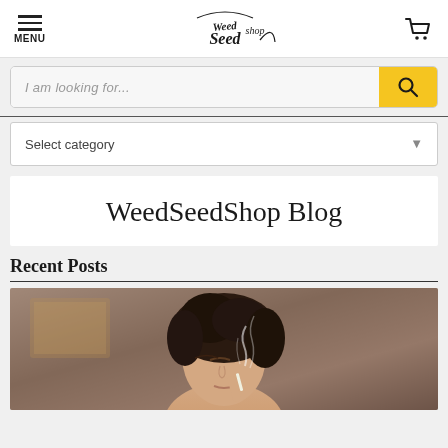MENU | WeedSeedShop logo | Cart icon
I am looking for...
Select category
WeedSeedShop Blog
Recent Posts
[Figure (photo): A young woman with dark curly hair exhaling smoke, eyes closed, holding a cigarette up to her lips. Indoor setting with blurred background.]